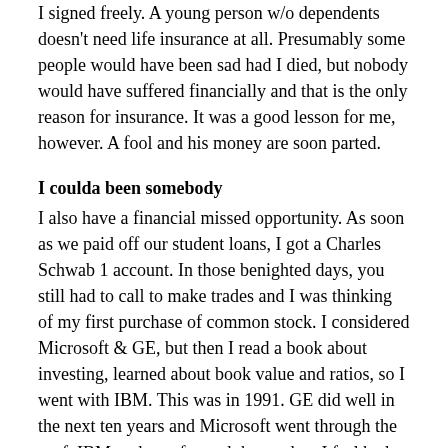I signed freely. A young person w/o dependents doesn't need life insurance at all. Presumably some people would have been sad had I died, but nobody would have suffered financially and that is the only reason for insurance. It was a good lesson for me, however. A fool and his money are soon parted.
I coulda been somebody
I also have a financial missed opportunity. As soon as we paid off our student loans, I got a Charles Schwab 1 account. In those benighted days, you still had to call to make trades and I was thinking of my first purchase of common stock. I considered Microsoft & GE, but then I read a book about investing, learned about book value and ratios, so I went with IBM. This was in 1991. GE did well in the next ten years and Microsoft went through the roof. IBM underperformed the market. I feel bad now. I just figured it out. With the IBM, I just about broke even